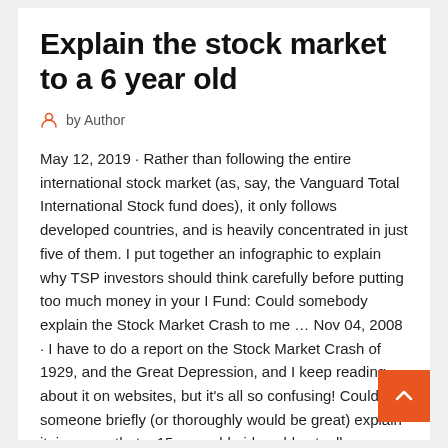Explain the stock market to a 6 year old
by Author
May 12, 2019 · Rather than following the entire international stock market (as, say, the Vanguard Total International Stock fund does), it only follows developed countries, and is heavily concentrated in just five of them. I put together an infographic to explain why TSP investors should think carefully before putting too much money in your I Fund: Could somebody explain the Stock Market Crash to me … Nov 04, 2008 · I have to do a report on the Stock Market Crash of 1929, and the Great Depression, and I keep reading about it on websites, but it's all so confusing! Could someone briefly (or thoroughly would be great) explain it, in a way that a 15 year old girl could actually understand? 10 …
How Does the Stock Market Work? - Investopedia Jun 25, 20… How The Stock Market Works: The NYSE and Nasdaq are the…